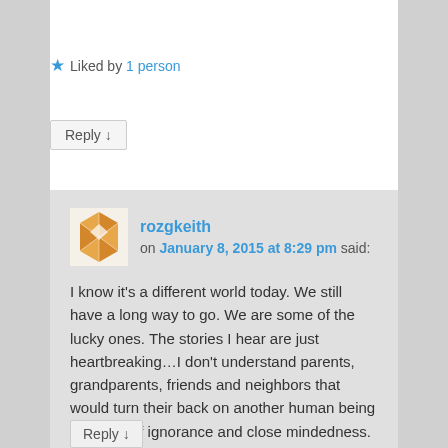Liked by 1 person
Reply ↓
rozgkeith on January 8, 2015 at 8:29 pm said:
I know it's a different world today. We still have a long way to go. We are some of the lucky ones. The stories I hear are just heartbreaking…I don't understand parents, grandparents, friends and neighbors that would turn their back on another human being because of ignorance and close mindedness. Thank you for your kind words.
Like
Reply ↓